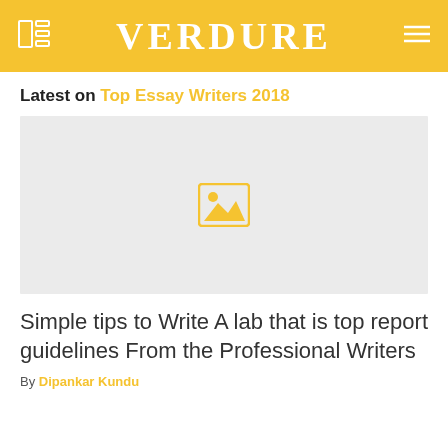VERDURE
Latest on Top Essay Writers 2018
[Figure (photo): Image placeholder with yellow mountains/landscape icon on grey background]
Simple tips to Write A lab that is top report guidelines From the Professional Writers
By Dipankar Kundu